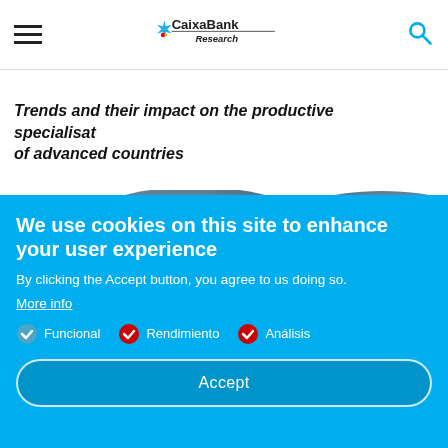CaixaBank Research
Trends and their impact on the productive specialisation of advanced countries
[Figure (illustration): Two blue blob/capsule shapes with 'Growth of' text labels on them, partially visible behind cookie overlay]
We use cookies on this site to enhance your user experience
By clicking the Accept button, you agree to us doing so.
More info
Funcional
Rendimiento
Análisis
Accept